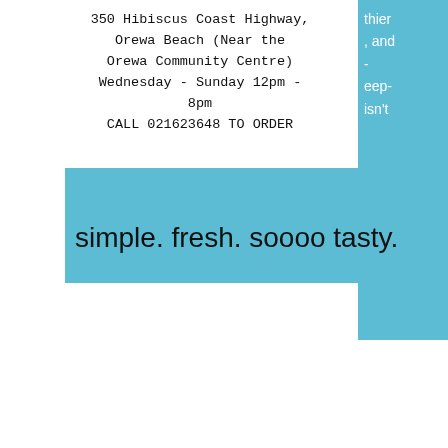350 Hibiscus Coast Highway, Orewa Beach (Near the Orewa Community Centre)
Wednesday - Sunday 12pm - 8pm
CALL 021623648 TO ORDER
thier , and - eep- isn't
simple. fresh. soooo tasty.